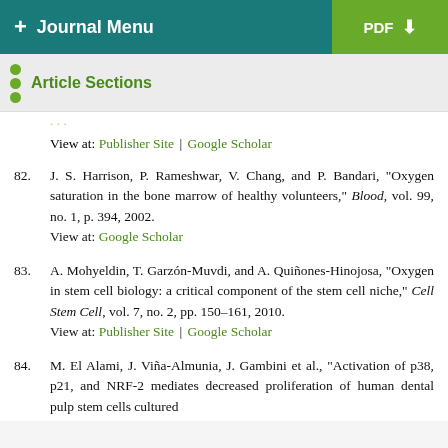+ Journal Menu    PDF ↓
Article Sections
View at: Publisher Site | Google Scholar
82. J. S. Harrison, P. Rameshwar, V. Chang, and P. Bandari, "Oxygen saturation in the bone marrow of healthy volunteers," Blood, vol. 99, no. 1, p. 394, 2002. View at: Google Scholar
83. A. Mohyeldin, T. Garzón-Muvdi, and A. Quiñones-Hinojosa, "Oxygen in stem cell biology: a critical component of the stem cell niche," Cell Stem Cell, vol. 7, no. 2, pp. 150–161, 2010. View at: Publisher Site | Google Scholar
84. M. El Alami, J. Viña-Almunia, J. Gambini et al., "Activation of p38, p21, and NRF-2 mediates decreased proliferation of human dental pulp stem cells cultured